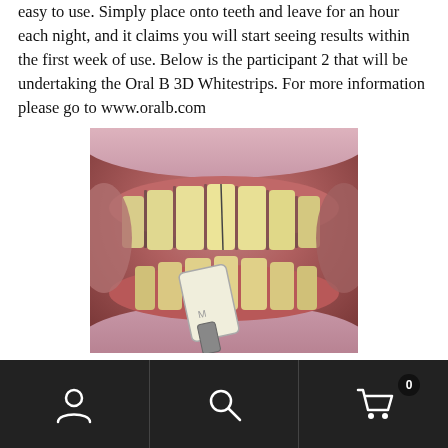easy to use. Simply place onto teeth and leave for an hour each night, and it claims you will start seeing results within the first week of use. Below is the participant 2 that will be undertaking the Oral B 3D Whitestrips. For more information please go to www.oralb.com
[Figure (photo): Close-up dental photograph showing a patient's teeth with a shade guide being held against them for color comparison. Teeth appear yellowed and crowded. The image is taken from inside the mouth with cheek retractors visible.]
Participant 2
Navigation bar with account icon, search icon, and cart icon (0 items)